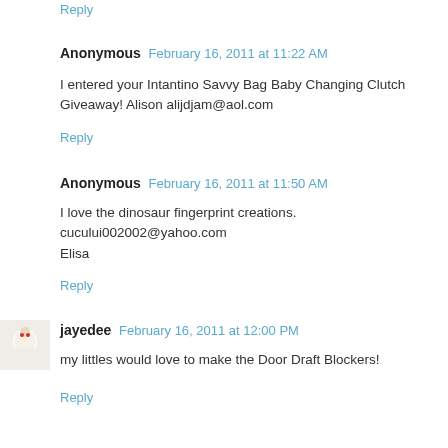Reply
Anonymous  February 16, 2011 at 11:22 AM
I entered your Intantino Savvy Bag Baby Changing Clutch Giveaway! Alison alijdjam@aol.com
Reply
Anonymous  February 16, 2011 at 11:50 AM
I love the dinosaur fingerprint creations.
cucului002002@yahoo.com
Elisa
Reply
jayedee  February 16, 2011 at 12:00 PM
my littles would love to make the Door Draft Blockers!
Reply